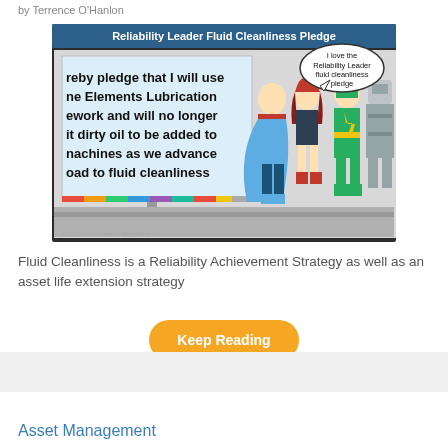by Terrence O'Hanlon
[Figure (illustration): Comic illustration titled 'Reliability Leader Fluid Cleanliness Pledge' showing superhero characters standing in front of a screen with pledge text. A speech bubble says 'I love the Reliability Leader fluid cleanliness pledge'. The pledge text reads: '...ereby pledge that I will use ...ne Elements Lubrication ...ework and will no longer ...it dirty oil to be added to ...nachines as we advance ...oad to fluid cleanliness']
Fluid Cleanliness is a Reliability Achievement Strategy as well as an asset life extension strategy
Keep Reading
Asset Management